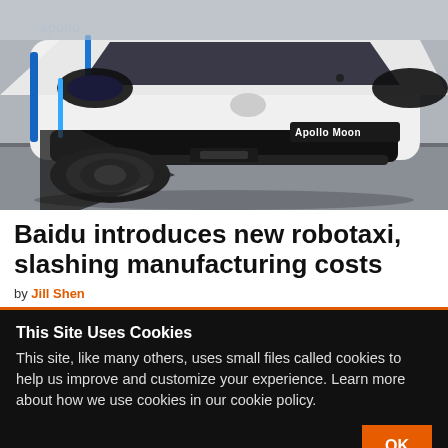[Figure (photo): Front view of the Baidu Apollo Moon autonomous vehicle (robotaxi), white car with blue accents, license plate reading 'Apollo Moon', photographed in an indoor showroom setting.]
Baidu introduces new robotaxi, slashing manufacturing costs
by Jill Shen
This Site Uses Cookies
This site, like many others, uses small files called cookies to help us improve and customize your experience. Learn more about how we use cookies in our cookie policy.